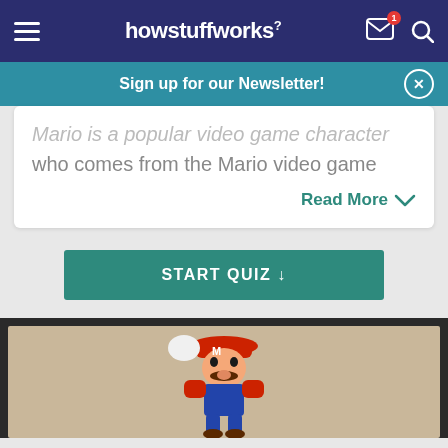howstuffworks
Sign up for our Newsletter!
Mario is a popular video game character who comes from the Mario video game
Read More
START QUIZ ↓
[Figure (photo): Mario character from Nintendo video game, wearing red hat and jumping, against a sandy/tan background with dark puzzle-piece border frame]